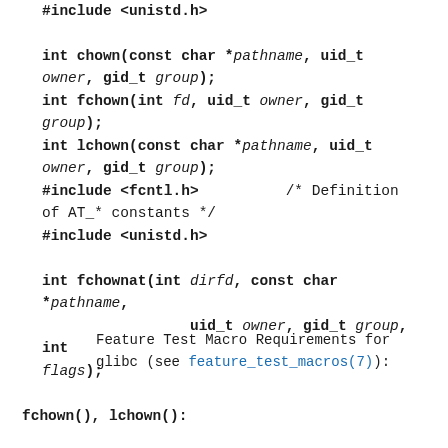#include <unistd.h>

int chown(const char *pathname, uid_t owner, gid_t group);
int fchown(int fd, uid_t owner, gid_t group);
int lchown(const char *pathname, uid_t owner, gid_t group);
#include <fcntl.h>          /* Definition of AT_* constants */
#include <unistd.h>

int fchownat(int dirfd, const char *pathname,
             uid_t owner, gid_t group, int flags);
Feature Test Macro Requirements for glibc (see feature_test_macros(7)):
fchown(), lchown():